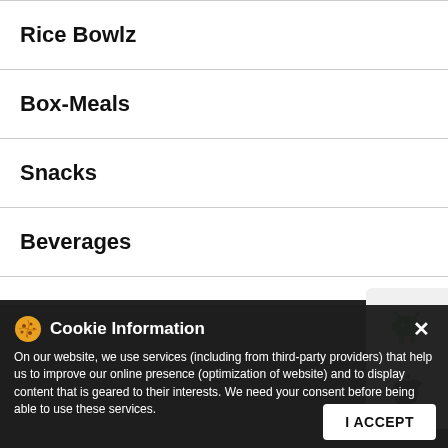Rice Bowlz
Box-Meals
Snacks
Beverages
[Figure (screenshot): Android app store button (Google Play icon)]
[Figure (screenshot): Apple App Store button (Apple logo icon)]
ABOUT KFC
KFC, a subsidiary of Yum! Brands Inc (NYSE: YUM), is a global quick service restaurant brand with a rich, decades-long history of more than 65 years ago, a list of secret herbs and spices scratched out on the back of the door to his kitchen. Today we still follow his formula for success, with real cooks breading and freshly preparing our delicious chicken by hand in more than restaurants in over 145 countries and territories around the world. The address of this restaurant is No 14/161, Vibhuthipura Race Post...
[Figure (screenshot): Cookie Information modal overlay with cookie emoji icon, close button, body text about website services and consent, and I ACCEPT button]
On our website, we use services (including from third-party providers) that help us to improve our online presence (optimization of website) and to display content that is geared to their interests. We need your consent before being able to use these services.